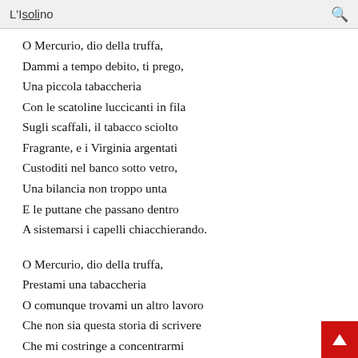L'Isolino
O Mercurio, dio della truffa,
Dammi a tempo debito, ti prego,
Una piccola tabaccheria
Con le scatoline luccicanti in fila
Sugli scaffali, il tabacco sciolto
Fragrante, e i Virginia argentati
Custoditi nel banco sotto vetro,
Una bilancia non troppo unta
E le puttane che passano dentro
A sistemarsi i capelli chiacchierando.
O Mercurio, dio della truffa,
Prestami una tabaccheria
O comunque trovami un altro lavoro
Che non sia questa storia di scrivere
Che mi costringe a concentrarmi
Sempre.